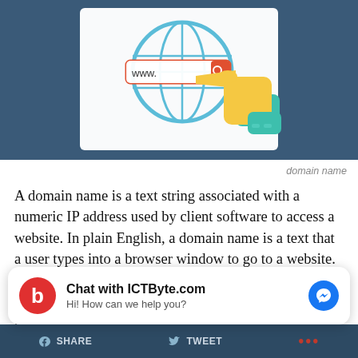[Figure (illustration): Illustration of a globe icon with a browser address bar showing 'www.' and a pointing hand/finger on a dark teal background inside a white card-like frame]
domain name
A domain name is a text string associated with a numeric IP address used by client software to access a website. In plain English, a domain name is a text that a user types into a browser window to go to a website. For example, Google’s domain name is “google.com”. It is evident enough that picking a name can either make or break
[Figure (screenshot): Chat widget overlay: ICTByte.com chat support box with red logo, 'Chat with ICTByte.com' title, 'Hi! How can we help you?' subtitle, and blue Messenger icon]
SHARE   TWEET   ...